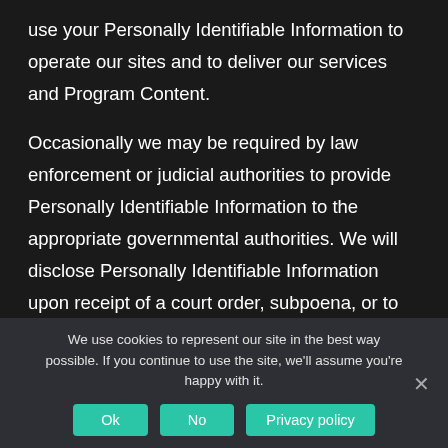use your Personally Identifiable Information to operate our sites and to deliver our services and Program Content.
Occasionally we may be required by law enforcement or judicial authorities to provide Personally Identifiable Information to the appropriate governmental authorities. We will disclose Personally Identifiable Information upon receipt of a court order, subpoena, or to cooperate with a law enforcement investigation. We fully cooperate with law enforcement agencies in identifying those who use our services for illegal activities. We reserve the right to report to law enforcement agencies any activities that we in good faith believe to be unlawful.
We use cookies to represent our site in the best way possible. If you continue to use the site, we'll assume you're happy with it.